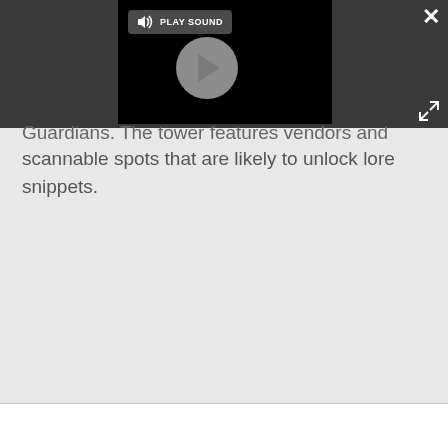[Figure (screenshot): Screenshot of a media player popup with a dark top bar, a video thumbnail area showing a play button circle and a 'PLAY SOUND' button with speaker icon, a close X button in the top right, and an expand icon below it.]
Guardians. The tower features vendors and scannable spots that are likely to unlock lore snippets.